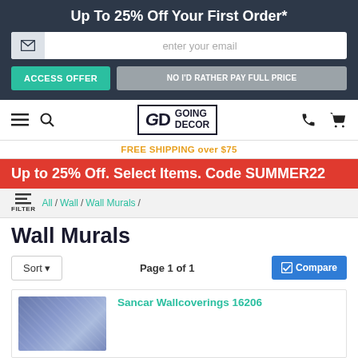Up To 25% Off Your First Order*
enter your email
ACCESS OFFER | NO I'D RATHER PAY FULL PRICE
[Figure (logo): Going Decor logo with GD monogram in a bordered box]
FREE SHIPPING over $75
Up to 25% Off. Select Items. Code SUMMER22
All / Wall / Wall Murals /
Wall Murals
Sort ▾   Page 1 of 1   ✓Compare
Sancar Wallcoverings 16206